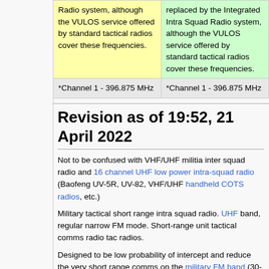| Radio system, although the VULOS service offered by standard tactical radios cover these frequencies. | replaced by the Integrated Intra Squad Radio system, although the VULOS service offered by standard tactical radios cover these frequencies. |
| *Channel 1 - 396.875 MHz | *Channel 1 - 396.875 MHz |
Revision as of 19:52, 21 April 2022
Not to be confused with VHF/UHF militia inter squad radio and 16 channel UHF low power intra-squad radio (Baofeng UV-5R, UV-82, VHF/UHF handheld COTS radios, etc.)
Military tactical short range intra squad radio. UHF band, regular narrow FM mode. Short-range unit tactical comms radio tac radios.
Designed to be low probability of intercept and reduce the very short range comms on the military FM band (30-88 MHz). ISR or IISR.